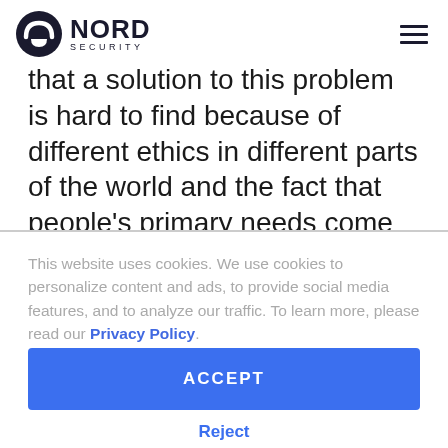NORD SECURITY
that a solution to this problem is hard to find because of different ethics in different parts of the world and the fact that people's primary needs come before their
This website uses cookies. We use cookies to personalize content and ads, to provide social media features, and to analyze our traffic. To learn more, please read our Privacy Policy.
ACCEPT
Reject